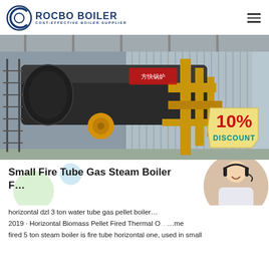[Figure (logo): Rocbo Boiler logo with circular icon and text 'ROCBO BOILER - COST-EFFECTIVE BOILER SUPPLIER']
[Figure (photo): Industrial fire tube gas steam boiler in a factory/warehouse setting, with a 10% DISCOUNT badge overlay in the bottom right]
Small Fire Tube Gas Steam Boiler F...
horizontal dzl 3 ton water tube gas pellet boiler ... 2019 · Horizontal Biomass Pellet Fired Thermal O... ...me fired 5 ton steam boiler is fire tube horizontal one, used in small